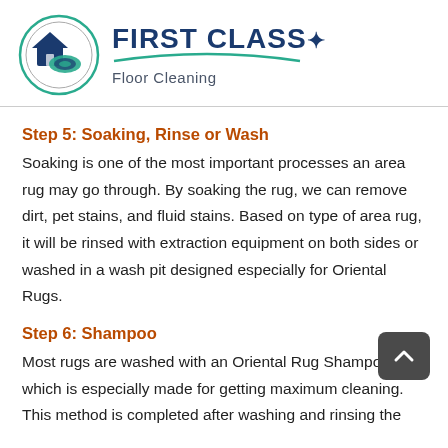[Figure (logo): First Class Floor Cleaning logo: circular icon with house and rugs, company name in dark blue bold text with star, tagline 'Floor Cleaning' in grey, green swoosh underline]
Step 5: Soaking, Rinse or Wash
Soaking is one of the most important processes an area rug may go through. By soaking the rug, we can remove dirt, pet stains, and fluid stains. Based on type of area rug, it will be rinsed with extraction equipment on both sides or washed in a wash pit designed especially for Oriental Rugs.
Step 6: Shampoo
Most rugs are washed with an Oriental Rug Shampoo which is especially made for getting maximum cleaning. This method is completed after washing and rinsing the